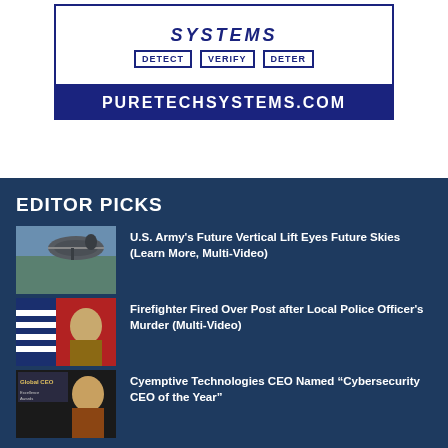[Figure (logo): PureTech Systems logo with DETECT VERIFY DETER bracketed labels and PURETECHSYSTEMS.COM URL bar in navy blue]
EDITOR PICKS
[Figure (photo): Military helicopter (future vertical lift aircraft) in flight against cloudy sky]
U.S. Army's Future Vertical Lift Eyes Future Skies (Learn More, Multi-Video)
[Figure (photo): Police officer in uniform in front of American flag]
Firefighter Fired Over Post after Local Police Officer's Murder (Multi-Video)
[Figure (photo): Man in business suit, Global CEO Excellence Awards backdrop]
Cyemptive Technologies CEO Named “Cybersecurity CEO of the Year”
POPULAR POSTS